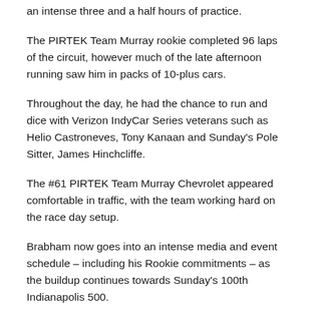an intense three and a half hours of practice.
The PIRTEK Team Murray rookie completed 96 laps of the circuit, however much of the late afternoon running saw him in packs of 10-plus cars.
Throughout the day, he had the chance to run and dice with Verizon IndyCar Series veterans such as Helio Castroneves, Tony Kanaan and Sunday's Pole Sitter, James Hinchcliffe.
The #61 PIRTEK Team Murray Chevrolet appeared comfortable in traffic, with the team working hard on the race day setup.
Brabham now goes into an intense media and event schedule – including his Rookie commitments – as the buildup continues towards Sunday's 100th Indianapolis 500.
The youngster will start the Indianapolis 500 from position 27.
The Warner Bros. Home Entertainment/Chris Kyle Frog Foundation CK Crew shared a special moment this morning at the